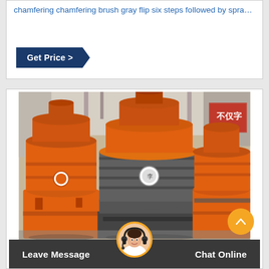chamfering chamfering brush gray flip six steps followed by spra…
Get Price >
[Figure (photo): Industrial grinding/milling machines (cone crushers or Raymond mills) in orange and dark gray color in a factory warehouse setting. Multiple large cylindrical machines visible with orange painted surfaces and dark metallic grinding components.]
Leave Message
Chat Online